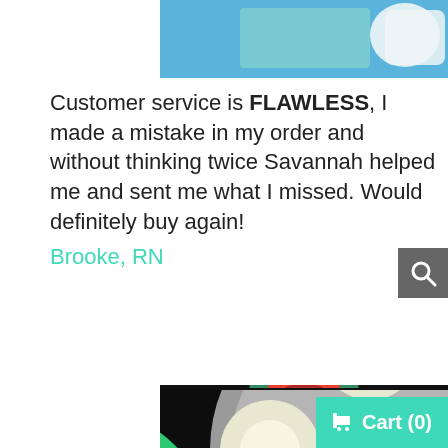[Figure (photo): Top portion of a product/review image showing blue surgical/medical background with a hand holding something]
Customer service is FLAWLESS, I made a mistake in my order and without thinking twice Savannah helped me and sent me what I missed. Would definitely buy again!
Brooke, RN
[Figure (illustration): Illustration of cartoon turtle ninja characters (Teenage Mutant Ninja Turtles) wearing green surgical caps around a medical tray with contact lenses, on a dark background]
Cart (0)